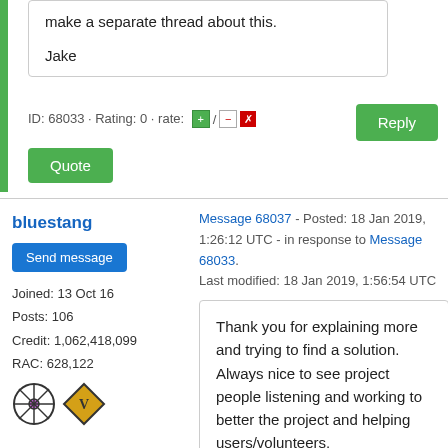make a separate thread about this.

Jake
ID: 68033 · Rating: 0 · rate: [+] / [-] [x]
bluestang
Send message
Joined: 13 Oct 16
Posts: 106
Credit: 1,062,418,099
RAC: 628,122
Message 68037 - Posted: 18 Jan 2019, 1:26:12 UTC - in response to Message 68033.
Last modified: 18 Jan 2019, 1:56:54 UTC
Thank you for explaining more and trying to find a solution. Always nice to see project people listening and working to better the project and helping users/volunteers.

Cheers!

EDIT: Although,I'm not quite sure of the 600 max limit for GPUs. What if